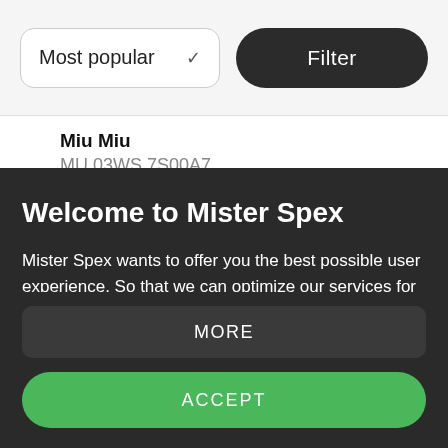[Figure (screenshot): Dropdown selector showing 'Most popular' with chevron, and a 'Filter' dark pill button]
Miu Miu
MU 03WS 7S00A7
Welcome to Mister Spex
Mister Spex wants to offer you the best possible user experience. So that we can optimize our services for you, we use cookies and similar technologies (tools) for usage analysis, marketing purposes and for integration of external content. By clicking "Accept", you consent to the use of cookies and other technologies to process your data, including the transfer to our external partners. This may include the processing of your data...
MORE
ACCEPT